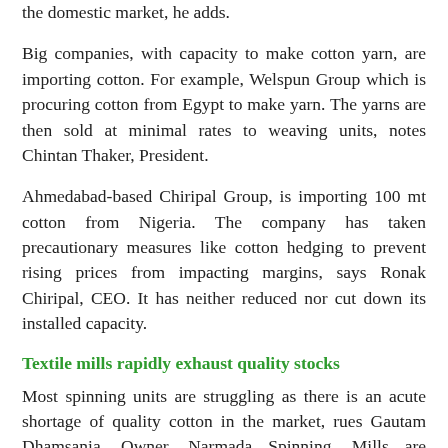the domestic market, he adds.
Big companies, with capacity to make cotton yarn, are importing cotton. For example, Welspun Group which is procuring cotton from Egypt to make yarn. The yarns are then sold at minimal rates to weaving units, notes Chintan Thaker, President.
Ahmedabad-based Chiripal Group, is importing 100 mt cotton from Nigeria. The company has taken precautionary measures like cotton hedging to prevent rising prices from impacting margins, says Ronak Chiripal, CEO. It has neither reduced nor cut down its installed capacity.
Textile mills rapidly exhaust quality stocks
Most spinning units are struggling as there is an acute shortage of quality cotton in the market, rues Gautam Dhamsania, Owner, Narmada Spinning. Mills are exhausting their stocks rapidly and would have to import cotton yarn for the next 3-4 months. Larger textile units